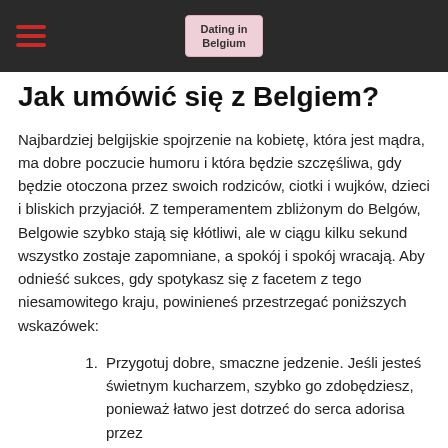Dating in Belgium
Jak umówić się z Belgiem?
Najbardziej belgijskie spojrzenie na kobietę, która jest mądra, ma dobre poczucie humoru i która będzie szczęśliwa, gdy będzie otoczona przez swoich rodziców, ciotki i wujków, dzieci i bliskich przyjaciół. Z temperamentem zbliżonym do Belgów, Belgowie szybko stają się kłótliwi, ale w ciągu kilku sekund wszystko zostaje zapomniane, a spokój i spokój wracają. Aby odnieść sukces, gdy spotykasz się z facetem z tego niesamowitego kraju, powinieneś przestrzegać poniższych wskazówek:
Przygotuj dobre, smaczne jedzenie. Jeśli jesteś świetnym kucharzem, szybko go zdobędziesz, ponieważ łatwo jest dotrzeć do serca adorisa przez